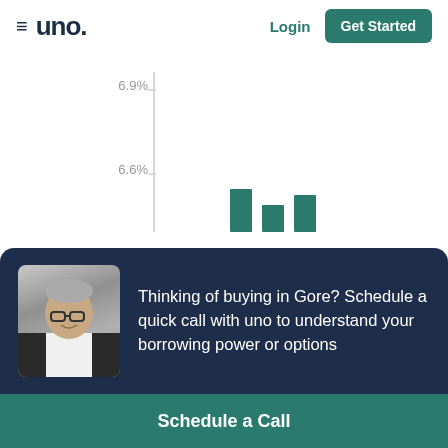≡ uno. Login Get Started
[Figure (bar-chart): Interest rates bar chart]
Thinking of buying in Gore? Schedule a quick call with uno to understand your borrowing power or options
Schedule a Call